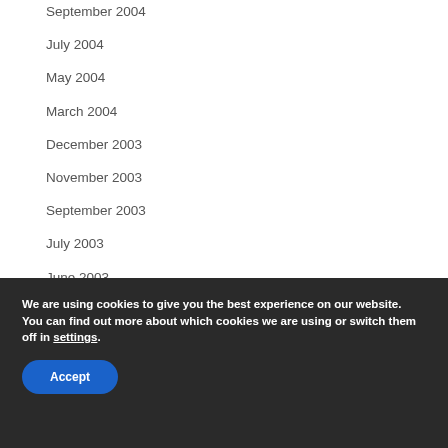September 2004
July 2004
May 2004
March 2004
December 2003
November 2003
September 2003
July 2003
June 2003
May 2003
We are using cookies to give you the best experience on our website.
You can find out more about which cookies we are using or switch them off in settings.
Accept